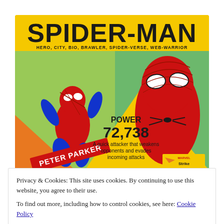[Figure (illustration): Spider-Man Marvel Strike Force character card. Yellow background with large bold 'SPIDER-MAN' title, subtitle 'HERO, CITY, BIO, BRAWLER, SPIDER-VERSE, WEB-WARRIOR'. Shows two Spider-Man illustrations: animated/comic style on left labeled 'PETER PARKER', and photorealistic on right. Center shows 'POWER 72,738' and text 'A quick attacker that weakens opponents and evades incoming attacks'. Marvel Strike Force logo bottom right.]
iPhone owners are obsessed with this Marvel...
Privacy & Cookies: This site uses cookies. By continuing to use this website, you agree to their use.
To find out more, including how to control cookies, see here: Cookie Policy
Close and accept